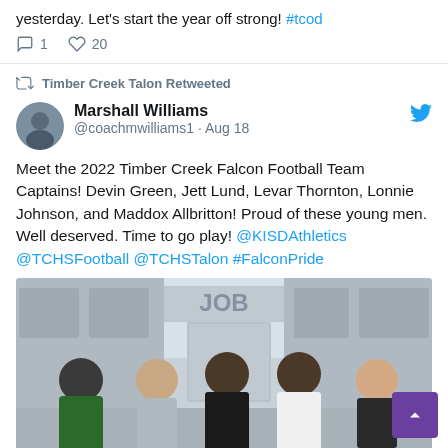yesterday. Let's start the year off strong! #tcod
1 comment, 20 likes
Timber Creek Talon Retweeted
Marshall Williams @coachmwilliams1 · Aug 18
Meet the 2022 Timber Creek Falcon Football Team Captains! Devin Green, Jett Lund, Levar Thornton, Lonnie Johnson, and Maddox Allbritton! Proud of these young men. Well deserved. Time to go play! @KISDAthletics @TCHSFootball @TCHSTalon #FalconPride
[Figure (photo): Five young men standing in a locker room with the word JOB visible on a sign above them. Photo appears to be the 2022 Timber Creek Falcon Football Team Captains.]